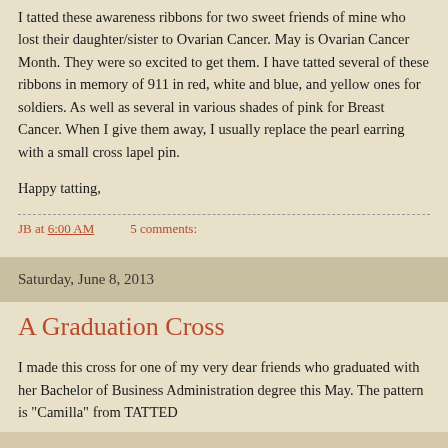I tatted these awareness ribbons for two sweet friends of mine who lost their daughter/sister to Ovarian Cancer.  May is Ovarian Cancer Month.  They were so excited to get them.  I have tatted several of these ribbons in memory of 911 in red, white and blue, and yellow ones for soldiers.  As well as several in various shades of pink for Breast Cancer.  When I give them away, I usually replace the pearl earring with a small cross lapel pin.
Happy tatting,
JB at 6:00 AM    5 comments:
Saturday, June 8, 2013
A Graduation Cross
I made this cross for one of my very dear friends who graduated with her Bachelor of Business Administration degree this May.  The pattern is "Camilla" from TATTED